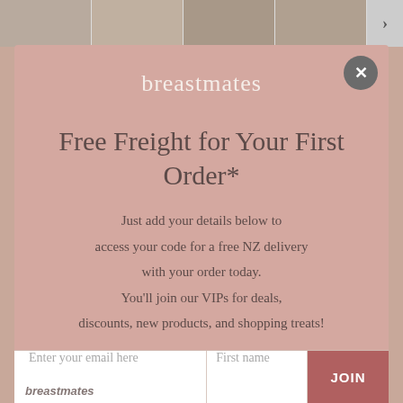[Figure (screenshot): Top strip showing thumbnail product images of clothing/apparel with a right-arrow navigation button]
breastmates
Free Freight for Your First Order*
Just add your details below to access your code for a free NZ delivery with your order today. You'll join our VIPs for deals, discounts, new products, and shopping treats!
Enter your email here   First name   JOIN